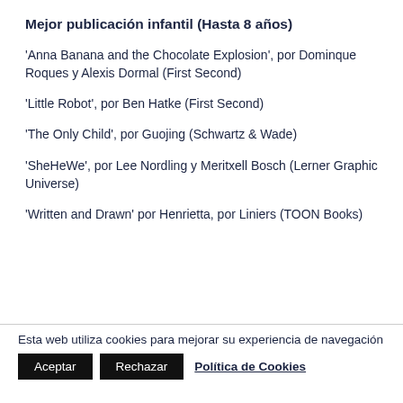Mejor publicación infantil (Hasta 8 años)
'Anna Banana and the Chocolate Explosion', por Dominque Roques y Alexis Dormal (First Second)
'Little Robot', por Ben Hatke (First Second)
'The Only Child', por Guojing (Schwartz & Wade)
'SheHeWe', por Lee Nordling y Meritxell Bosch (Lerner Graphic Universe)
'Written and Drawn' por Henrietta, por Liniers (TOON Books)
Esta web utiliza cookies para mejorar su experiencia de navegación  Aceptar  Rechazar  Política de Cookies